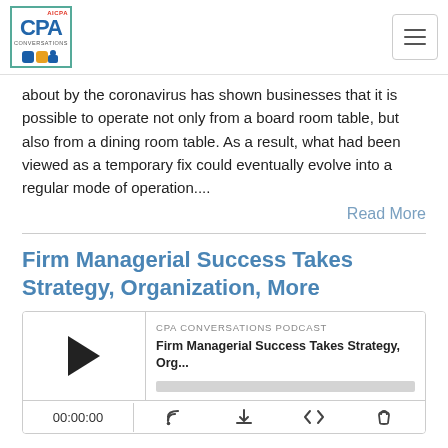CPA Conversations Podcast logo and navigation
about by the coronavirus has shown businesses that it is possible to operate not only from a board room table, but also from a dining room table. As a result, what had been viewed as a temporary fix could eventually evolve into a regular mode of operation....
Read More
Firm Managerial Success Takes Strategy, Organization, More
[Figure (screenshot): Podcast player widget showing CPA CONVERSATIONS PODCAST episode titled 'Firm Managerial Success Takes Strategy, Org...' with play button, progress bar, timestamp 00:00:00, and control icons for RSS, download, embed, and share.]
Jul 6, 2020